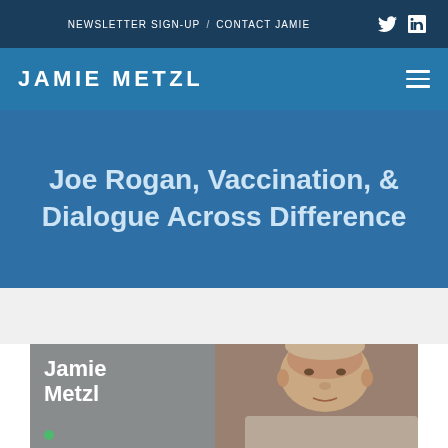NEWSLETTER SIGN-UP / CONTACT JAMIE
JAMIE METZL
Joe Rogan, Vaccination, & Dialogue Across Difference
[Figure (photo): Photo of Jamie Metzl with name overlay text 'Jamie Metzl' on a gray background card]